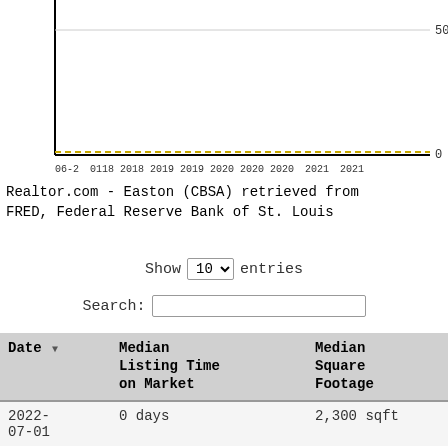[Figure (continuous-plot): Bottom portion of a line chart showing Median Listing Time on Market and Median Square Footage over time from 06-2017 to 2021. The y-axis shows values with a gridline at 500 sqft and 0 sqft at the bottom. A dashed yellow/gold line runs nearly flat along the bottom.]
Realtor.com - Easton (CBSA) retrieved from FRED, Federal Reserve Bank of St. Louis
Show 10 entries
Search:
| Date | Median Listing Time on Market | Median Square Footage |
| --- | --- | --- |
| 2022-07-01 | 0 days | 2,300 sqft |